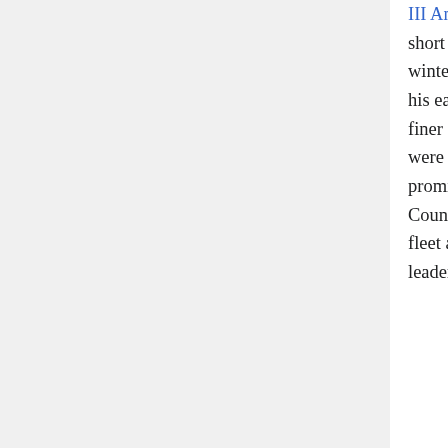III Angelos, brother of Isaac II. This offer, tempting for an enterprise that was short on funds, reached the leaders of the Crusade on 1 January 1203 as they wintered at Zara.[33] Doge Dandolo was a fierce supporter of the plan; however, in his earlier capacity as an ambassador to Byzantium and someone who knew the finer details of how Byzantine politics worked, it is likely he knew the promises were false and there was no hope of any Byzantine emperor raising the money promised, let alone raising the troops and giving the church to the Holy See. Count Boniface agreed and Alexios IV returned with the Marquess to rejoin the fleet at Corfu after it had sailed from Zara. Most of the rest of the crusade's leaders, encouraged by bribes from Dandolo,[31] eventually accepted the